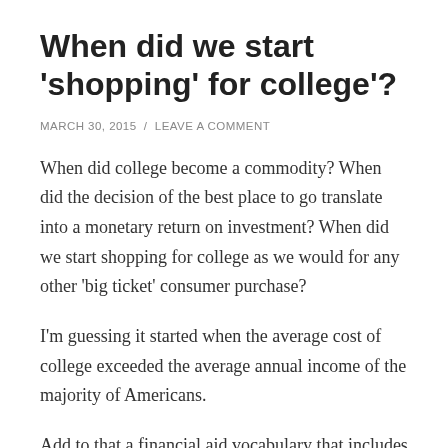When did we start 'shopping' for college'?
MARCH 30, 2015  /  LEAVE A COMMENT
When did college become a commodity? When did the decision of the best place to go translate into a monetary return on investment? When did we start shopping for college as we would for any other 'big ticket' consumer purchase?
I'm guessing it started when the average cost of college exceeded the average annual income of the majority of Americans.
Add to that a financial aid vocabulary that includes terms similar to those we use when we buy a car: